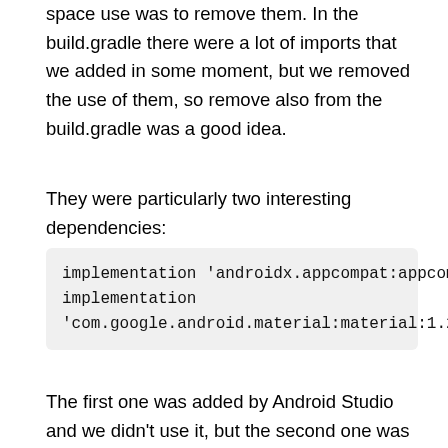space use was to remove them. In the build.gradle there were a lot of imports that we added in some moment, but we removed the use of them, so remove also from the build.gradle was a good idea.
They were particularly two interesting dependencies:
implementation 'androidx.appcompat:appcompat:1.2.0'
implementation 'com.google.android.material:material:1.2.1'
The first one was added by Android Studio and we didn't use it, but the second one was an addition to the design of the application. We removed the calls to the import and the dependency. That reduced approximately 400 KB of space.
At the end of the process, the APK size is 730,337 KB, this means a reduction of approximately 85% of space use.
Finally, we decided to publish and we are going to the Pl...